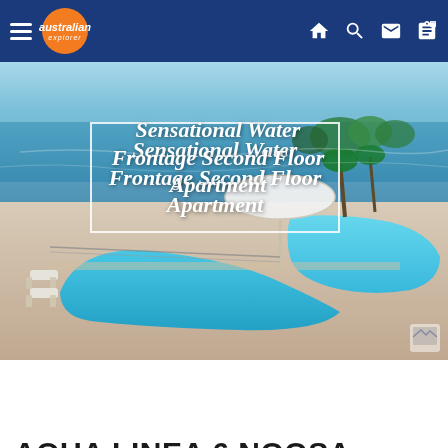australian explorer — navigation bar
[Figure (photo): Aerial/elevated view of a resort swimming pool with water frontage, blue water, lounge chairs, palm trees, and a waterway in the background.]
Sensational Water Frontage Second Floor Apartment
Action bar with info, settings, camera, location, edit icons and BOOK button
AQUA LINEA 6 NOOSA PARADE 82